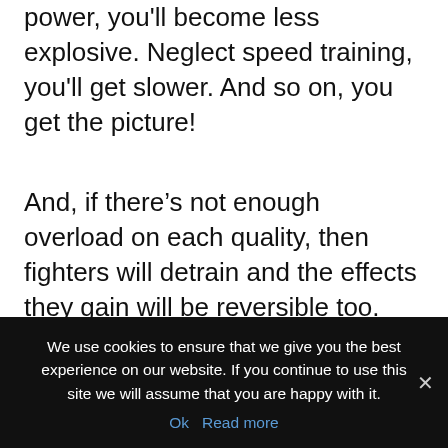power, you'll become less explosive. Neglect speed training, you'll get slower. And so on, you get the picture!
And, if there's not enough overload on each quality, then fighters will detrain and the effects they gain will be reversible too. But the good news is you don't need to have all of these qualities maxed out all the time.
Although, as a fighter you don't want to let any quality decrease too much. That's
We use cookies to ensure that we give you the best experience on our website. If you continue to use this site we will assume that you are happy with it.